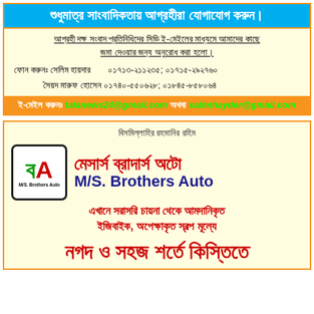শুধুমাত্র সাংবাদিকতায় আগ্রহীরা যোগাযোগ করুন।
আগ্রহী দক্ষ সংবাদ প্রতিনিধিদের সিভি ই-মেইলের মাধ্যমে আমাদের কাছে জমা দেওয়ার জন্য অনুরোধ করা হলো।
ফোন করুনঃ সেলিম হায়দার ০১৭১৩-২১১২৩৫; ০১৭১৫-২৯২৭৬০
সৈয়দ মারুফ হোসেন ০১৭৪০-৫৫০৬২৮; ০১৮৪৫-৮৫৮০৬৪
ই-মেইল করুনঃ talanews24@gmail.com অথবা salimhayder@gmail.com
বিসমিল্লাহির রহমানির রহিম
[Figure (logo): M/S. Brothers Auto logo with green Bengali letter and red A on white background with black border]
মেসার্স ব্রাদার্স অটো
M/S. Brothers Auto
এখানে সরাসরি চায়না থেকে আমদানিকৃত ইজিবাইক, অপেক্ষাকৃত স্বল্প মূল্যে
নগদ ও সহজ শর্তে কিস্তিতে